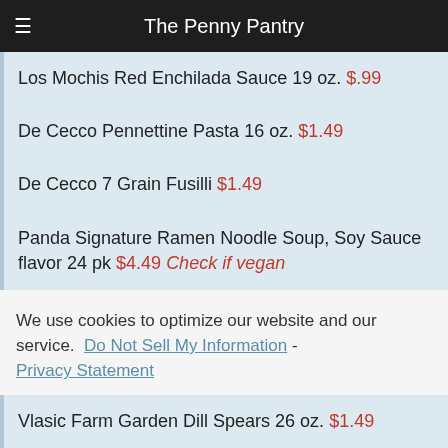The Penny Pantry
Los Mochis Red Enchilada Sauce 19 oz. $.99
De Cecco Pennettine Pasta 16 oz. $1.49
De Cecco 7 Grain Fusilli $1.49
Panda Signature Ramen Noodle Soup, Soy Sauce flavor 24 pk $4.49 Check if vegan
We use cookies to optimize our website and our service.  Do Not Sell My Information - Privacy Statement
Accept
Vlasic Farm Garden Dill Spears 26 oz. $1.49